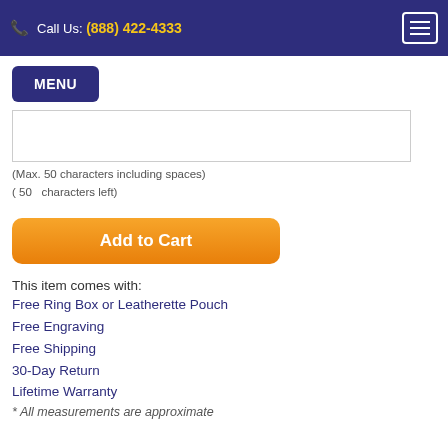Call Us: (888) 422-4333
MENU
(Max. 50 characters including spaces)
( 50   characters left)
Add to Cart
This item comes with:
Free Ring Box or Leatherette Pouch
Free Engraving
Free Shipping
30-Day Return
Lifetime Warranty
* All measurements are approximate